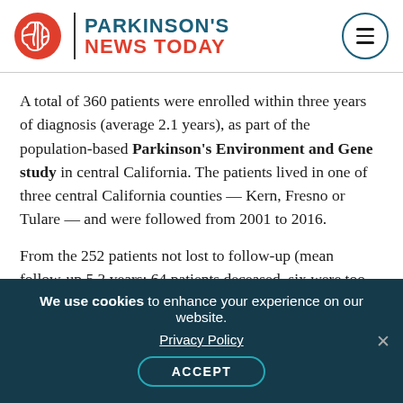PARKINSON'S NEWS TODAY
A total of 360 patients were enrolled within three years of diagnosis (average 2.1 years), as part of the population-based Parkinson's Environment and Gene study in central California. The patients lived in one of three central California counties — Kern, Fresno or Tulare — and were followed from 2001 to 2016.
From the 252 patients not lost to follow-up (mean follow-up 5.3 years; 64 patients deceased, six were too ill, 17 withdrew, and 21 could not be contacted),
We use cookies to enhance your experience on our website. Privacy Policy ACCEPT